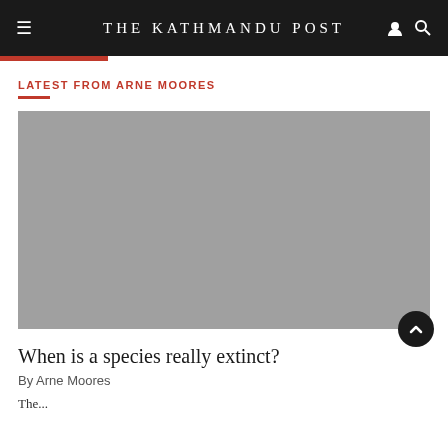THE KATHMANDU POST
LATEST FROM ARNE MOORES
[Figure (photo): Gray placeholder image for article about species extinction]
When is a species really extinct?
By Arne Moores
The...